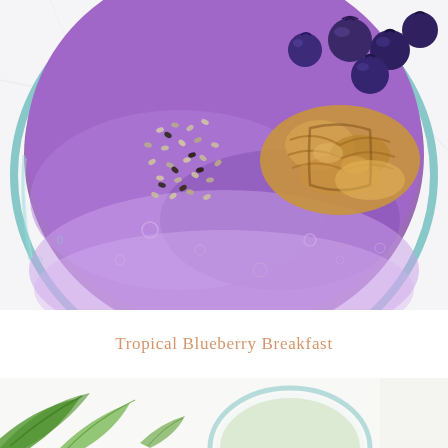[Figure (photo): Top-down close-up photo of a blueberry smoothie in a clear glass bowl, topped with fresh blueberries, chia seeds, and walnuts, on a white marble surface.]
Tropical Blueberry Breakfast
[Figure (photo): Partial bottom photo showing green leafy vegetables and a glass, cropped at the bottom of the page.]